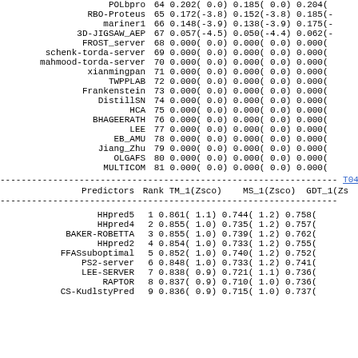| Predictors | Rank | TM_1(Zsco) | MS_1(Zsco) | GDT_1(Zs... |
| --- | --- | --- | --- | --- |
| POLbpro | 64 | 0.202( 0.0) | 0.185( 0.0) | 0.204(… |
| RBO-Proteus | 65 | 0.172(-3.8) | 0.152(-3.8) | 0.185(-… |
| mariner1 | 66 | 0.148(-3.9) | 0.138(-3.9) | 0.175(-… |
| 3D-JIGSAW_AEP | 67 | 0.057(-4.5) | 0.050(-4.4) | 0.062(-… |
| FROST_server | 68 | 0.000( 0.0) | 0.000( 0.0) | 0.000(… |
| schenk-torda-server | 69 | 0.000( 0.0) | 0.000( 0.0) | 0.000(… |
| mahmood-torda-server | 70 | 0.000( 0.0) | 0.000( 0.0) | 0.000(… |
| xianmingpan | 71 | 0.000( 0.0) | 0.000( 0.0) | 0.000(… |
| TWPPLAB | 72 | 0.000( 0.0) | 0.000( 0.0) | 0.000(… |
| Frankenstein | 73 | 0.000( 0.0) | 0.000( 0.0) | 0.000(… |
| DistillSN | 74 | 0.000( 0.0) | 0.000( 0.0) | 0.000(… |
| HCA | 75 | 0.000( 0.0) | 0.000( 0.0) | 0.000(… |
| BHAGEERATH | 76 | 0.000( 0.0) | 0.000( 0.0) | 0.000(… |
| LEE | 77 | 0.000( 0.0) | 0.000( 0.0) | 0.000(… |
| EB_AMU | 78 | 0.000( 0.0) | 0.000( 0.0) | 0.000(… |
| Jiang_Zhu | 79 | 0.000( 0.0) | 0.000( 0.0) | 0.000(… |
| OLGAFS | 80 | 0.000( 0.0) | 0.000( 0.0) | 0.000(… |
| MULTICOM | 81 | 0.000( 0.0) | 0.000( 0.0) | 0.000(… |
| Predictors | Rank | TM_1(Zsco) | MS_1(Zsco) | GDT_1(Zs... |
| --- | --- | --- | --- | --- |
| HHpred5 | 1 | 0.861( 1.1) | 0.744( 1.2) | 0.758(… |
| HHpred4 | 2 | 0.855( 1.0) | 0.735( 1.2) | 0.757(… |
| BAKER-ROBETTA | 3 | 0.855( 1.0) | 0.739( 1.2) | 0.762(… |
| HHpred2 | 4 | 0.854( 1.0) | 0.733( 1.2) | 0.755(… |
| FFASsuboptimal | 5 | 0.852( 1.0) | 0.740( 1.2) | 0.752(… |
| PS2-server | 6 | 0.848( 1.0) | 0.733( 1.2) | 0.741(… |
| LEE-SERVER | 7 | 0.838( 0.9) | 0.721( 1.1) | 0.736(… |
| RAPTOR | 8 | 0.837( 0.9) | 0.710( 1.0) | 0.736(… |
| CS-KudlstyPred | 9 | 0.836( 0.9) | 0.715( 1.0) | 0.737(… |